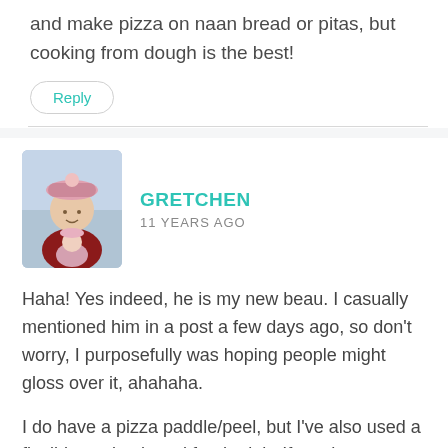and make pizza on naan bread or pitas, but cooking from dough is the best!
Reply
GRETCHEN
11 YEARS AGO
Haha! Yes indeed, he is my new beau. I casually mentioned him in a post a few days ago, so don't worry, I purposefully was hoping people might gloss over it, ahahaha.
I do have a pizza paddle/peel, but I've also used a flexible cutting board for the job. If you have something that won't melt, I'm sure it'd work out perfectly. Just use lots of corn meal on the bottom of the dough so it slides easily!